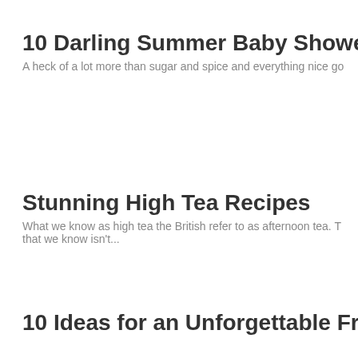10 Darling Summer Baby Shower Rec
A heck of a lot more than sugar and spice and everything nice go
Stunning High Tea Recipes
What we know as high tea the British refer to as afternoon tea. T that we know isn't...
10 Ideas for an Unforgettable Frozen